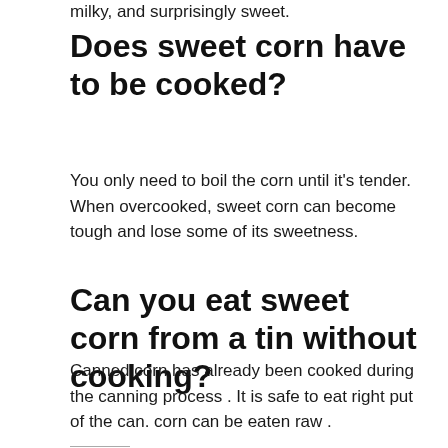milky, and surprisingly sweet.
Does sweet corn have to be cooked?
You only need to boil the corn until it's tender. When overcooked, sweet corn can become tough and lose some of its sweetness.
Can you eat sweet corn from a tin without cooking?
Canned corn has already been cooked during the canning process . It is safe to eat right put of the can. corn can be eaten raw .